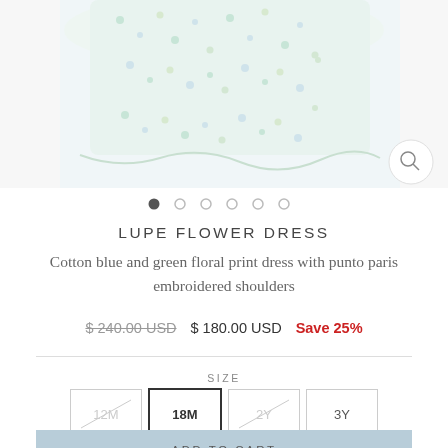[Figure (photo): Partial view of a cotton floral print dress with blue and green pattern, showing the upper portion of the garment against a white background. A zoom/magnify button is visible in the bottom right corner.]
LUPE FLOWER DRESS
Cotton blue and green floral print dress with punto paris embroidered shoulders
$ 240.00 USD  $ 180.00 USD  Save 25%
SIZE
12M  18M  2Y  3Y
ADD TO CART